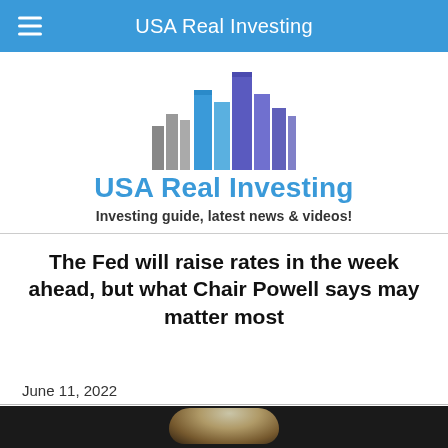USA Real Investing
[Figure (logo): USA Real Investing logo — stylized bar chart of buildings in grey, blue, and purple/indigo tones]
USA Real Investing
Investing guide, latest news & videos!
The Fed will raise rates in the week ahead, but what Chair Powell says may matter most
June 11, 2022
[Figure (photo): Partial photo of a person with light hair at bottom of page, dark background]